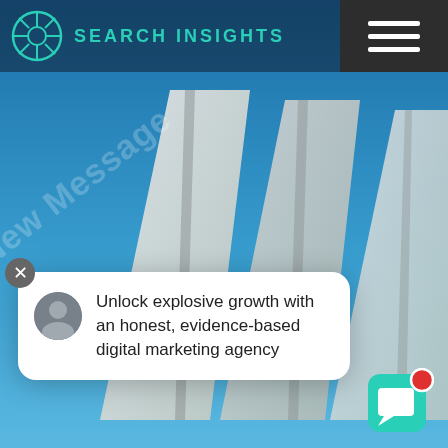[Figure (screenshot): Hero background image showing angled white/grey architectural shapes (stylized book or building spines) against a blue sky gradient background.]
SEARCH INSIGHTS
[Figure (illustration): Diagonal watermark-style text reading '1 New Message' overlaid on the hero image at an angle.]
Unlock explosive growth with an honest, evidence-based digital marketing agency
[Figure (logo): Teal circular logo icon and chat widget button with red notification dot in bottom-right corner.]